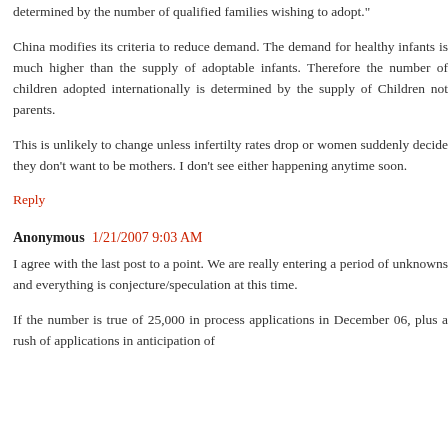determined by the number of qualified families wishing to adopt."
China modifies its criteria to reduce demand. The demand for healthy infants is much higher than the supply of adoptable infants. Therefore the number of children adopted internationally is determined by the supply of Children not parents.
This is unlikely to change unless infertilty rates drop or women suddenly decide they don't want to be mothers. I don't see either happening anytime soon.
Reply
Anonymous 1/21/2007 9:03 AM
I agree with the last post to a point. We are really entering a period of unknowns and everything is conjecture/speculation at this time.
If the number is true of 25,000 in process applications in December 06, plus a rush of applications in anticipation of